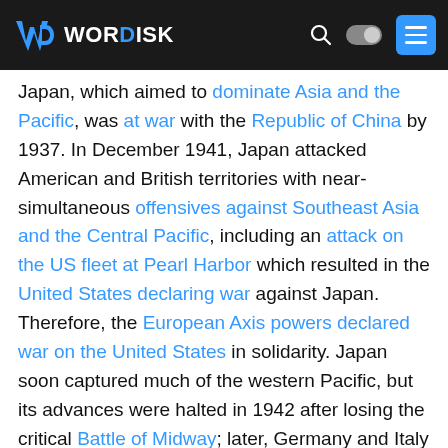WORDISK
Japan, which aimed to dominate Asia and the Pacific, was at war with the Republic of China by 1937. In December 1941, Japan attacked American and British territories with near-simultaneous offensives against Southeast Asia and the Central Pacific, including an attack on the US fleet at Pearl Harbor which resulted in the United States declaring war against Japan. Therefore, the European Axis powers declared war on the United States in solidarity. Japan soon captured much of the western Pacific, but its advances were halted in 1942 after losing the critical Battle of Midway; later, Germany and Italy were defeated in North Africa and at Stalingrad in the Soviet Union. Key setbacks in 1943—including a series of German defeats on the Eastern Front, the Allied invasions of Sicily and the